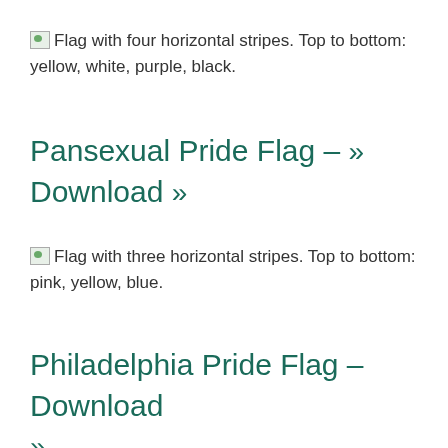Flag with four horizontal stripes. Top to bottom: yellow, white, purple, black.
Pansexual Pride Flag – » Download »
Flag with three horizontal stripes. Top to bottom: pink, yellow, blue.
Philadelphia Pride Flag – Download »